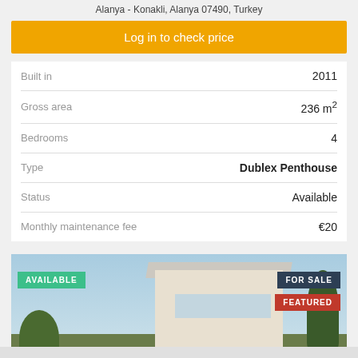Alanya - Konakli, Alanya 07490, Turkey
Log in to check price
| Property | Value |
| --- | --- |
| Built in | 2011 |
| Gross area | 236 m² |
| Bedrooms | 4 |
| Type | Dublex Penthouse |
| Status | Available |
| Monthly maintenance fee | €20 |
[Figure (photo): Exterior photo of a modern white multi-story villa/penthouse building with large windows, surrounded by trees, with a sea view backdrop. Badges show AVAILABLE (green, top-left), FOR SALE (dark blue, top-right), and FEATURED (red, below FOR SALE).]